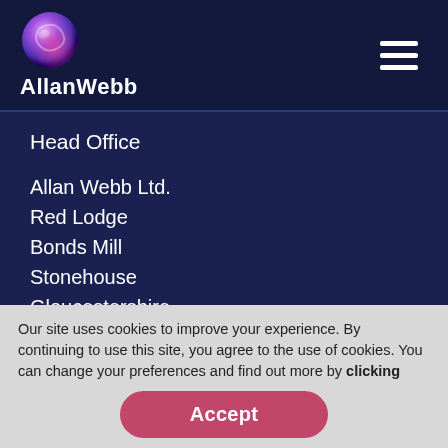[Figure (logo): Allan Webb company logo with stylized purple/pink sphere icon and white text 'AllanWebb']
Head Office
Allan Webb Ltd.
Red Lodge
Bonds Mill
Stonehouse
Gloucestershire
GL10 3RE
Our site uses cookies to improve your experience. By continuing to use this site, you agree to the use of cookies. You can change your preferences and find out more by clicking here.
Accept